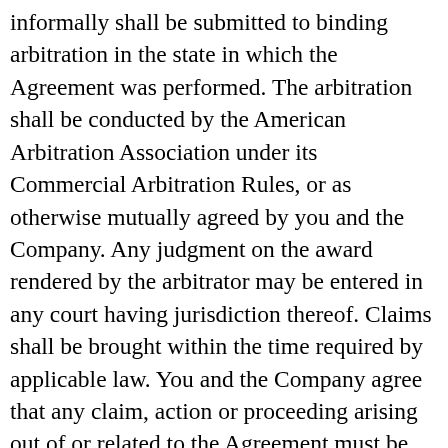informally shall be submitted to binding arbitration in the state in which the Agreement was performed. The arbitration shall be conducted by the American Arbitration Association under its Commercial Arbitration Rules, or as otherwise mutually agreed by you and the Company. Any judgment on the award rendered by the arbitrator may be entered in any court having jurisdiction thereof. Claims shall be brought within the time required by applicable law. You and the Company agree that any claim, action or proceeding arising out of or related to the Agreement must be brought in your individual capacity, and not as a plaintiff or class member in any purported class, collective, or representative proceeding. The arbitrator may not consolidate more than one person's claims, and may not otherwise preside over any form of a representative, collective, or class proceeding.No joint venture, partnership, employment, or agency relationship exists between you, the Company or any third party